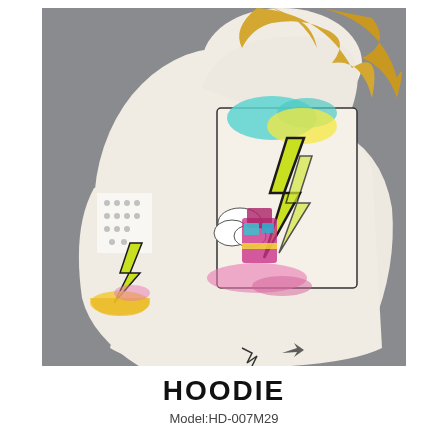[Figure (photo): A woman wearing an oversized white hoodie with colorful graffiti-style graphic print featuring lightning bolts, comic-style clouds, and vibrant multicolor artwork including pink, yellow, teal, and black. She also wears white leggings with graphic print. Background is gray studio backdrop.]
HOODIE
Model:HD-007M29